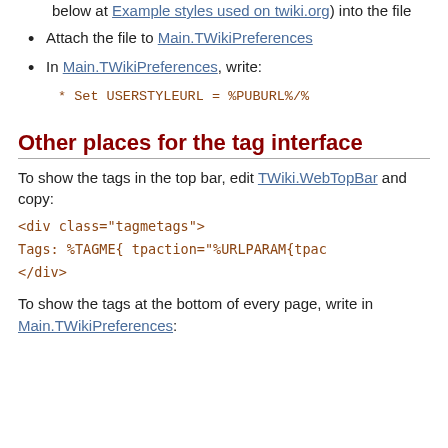below at Example styles used on twiki.org) into the file
Attach the file to Main.TWikiPreferences
In Main.TWikiPreferences, write:
* Set USERSTYLEURL = %PUBURL%/%
Other places for the tag interface
To show the tags in the top bar, edit TWiki.WebTopBar and copy:
<div class="tagmetags">
Tags: %TAGME{ tpaction="%URLPARAM{tpac}
</div>
To show the tags at the bottom of every page, write in Main.TWikiPreferences: